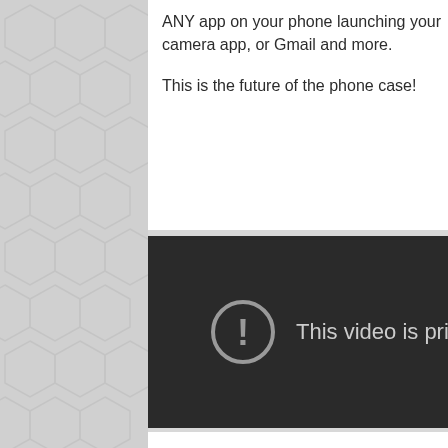ANY app on your phone launching your camera app, or Gmail and more.

This is the future of the phone case!
[Figure (screenshot): An embedded video player showing a dark background with a warning icon (circle with exclamation mark) and the text 'This video is pri...' indicating the video is private.]